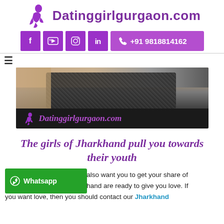Datinggirlgurgaon.com
[Figure (logo): Website logo with silhouette of a girl and site name Datinggirlgurgaon.com in purple]
[Figure (infographic): Social media icons bar: Facebook, YouTube, Instagram, LinkedIn in purple squares, and phone number +91 9818814162 in purple button]
[Figure (photo): Banner image showing a woman's back/torso with black sequined dress, with Datinggirlgurgaon.com logo overlay on black bar]
The girls of Jharkhand pull you towards their youth
e also want you to get your share of rkhand are ready to give you love. If you want love, then you should contact our Jharkhand